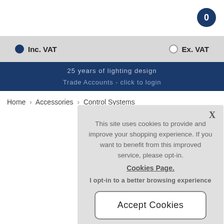0
Inc. VAT   Ex. VAT
25 years of lighting design
Trade Accounts - click to login
Home > Accessories > Control Systems
This site uses cookies to provide and improve your shopping experience. If you want to benefit from this improved service, please opt-in. Cookies Page.
I opt-in to a better browsing experience
Accept Cookies